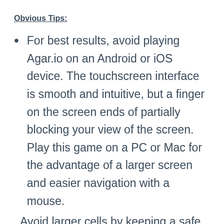Obvious Tips:
For best results, avoid playing Agar.io on an Android or iOS device. The touchscreen interface is smooth and intuitive, but a finger on the screen ends of partially blocking your view of the screen. Play this game on a PC or Mac for the advantage of a larger screen and easier navigation with a mouse.
Avoid larger cells by keeping a safe